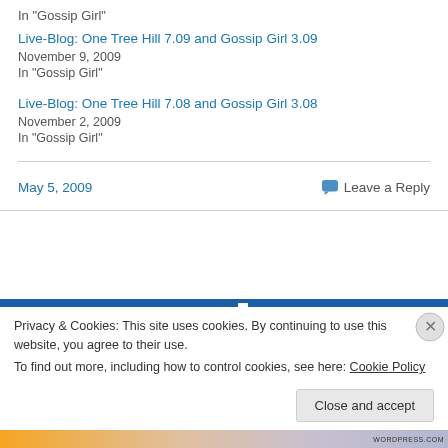In "Gossip Girl"
Live-Blog: One Tree Hill 7.09 and Gossip Girl 3.09
November 9, 2009
In "Gossip Girl"
Live-Blog: One Tree Hill 7.08 and Gossip Girl 3.08
November 2, 2009
In "Gossip Girl"
May 5, 2009
Leave a Reply
Privacy & Cookies: This site uses cookies. By continuing to use this website, you agree to their use.
To find out more, including how to control cookies, see here: Cookie Policy